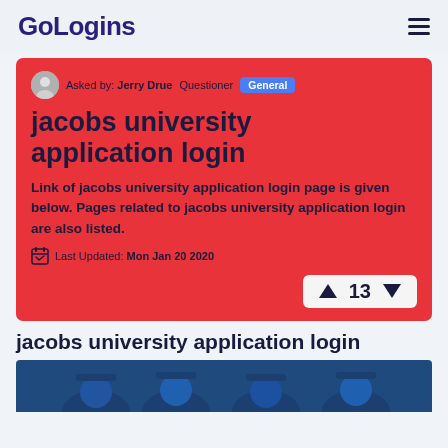GoLogins
Asked by: Jerry Drue  Questioner  General
jacobs university application login
Link of jacobs university application login page is given below. Pages related to jacobs university application login are also listed.
Last Updated: Mon Jan 20 2020
13
jacobs university application login
[Figure (photo): Photo of graduating students in blue caps, partially visible at the bottom of the page]